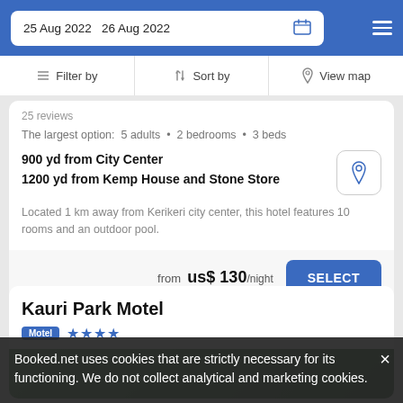25 Aug 2022  26 Aug 2022
Filter by  Sort by  View map
25 reviews
The largest option:  5 adults  •  2 bedrooms  •  3 beds
900 yd from City Center
1200 yd from Kemp House and Stone Store
Located 1 km away from Kerikeri city center, this hotel features 10 rooms and an outdoor pool.
from  us$ 130/night
Kauri Park Motel
Motel ★★★★
Booked.net uses cookies that are strictly necessary for its functioning. We do not collect analytical and marketing cookies.